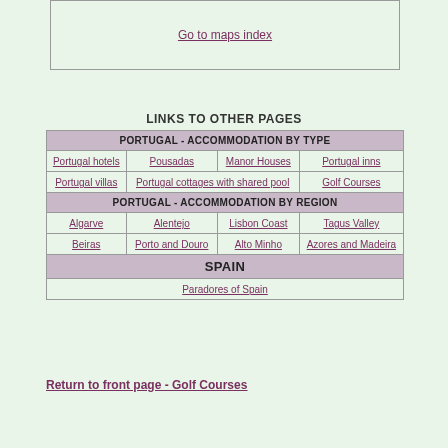Go to maps index
LINKS TO OTHER PAGES
| PORTUGAL - ACCOMMODATION BY TYPE |
| Portugal hotels | Pousadas | Manor Houses | Portugal inns |
| Portugal villas | Portugal cottages with shared pool | Golf Courses |
| PORTUGAL - ACCOMMODATION BY REGION |
| Algarve | Alentejo | Lisbon Coast | Tagus Valley |
| Beiras | Porto and Douro | Alto Minho | Azores and Madeira |
| SPAIN |
| Paradores of Spain |
Return to front page - Golf Courses